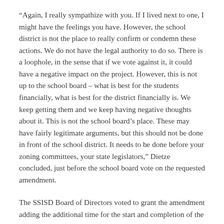“Again, I really sympathize with you. If I lived next to one, I might have the feelings you have. However, the school district is not the place to really confirm or condemn these actions. We do not have the legal authority to do so. There is a loophole, in the sense that if we vote against it, it could have a negative impact on the project. However, this is not up to the school board – what is best for the students financially, what is best for the district financially is. We keep getting them and we keep having negative thoughts about it. This is not the school board’s place. These may have fairly legitimate arguments, but this should not be done in front of the school district. It needs to be done before your zoning committees, your state legislators,” Dietze concluded, just before the school board vote on the requested amendment.
The SSISD Board of Directors voted to grant the amendment adding the additional time for the start and completion of the project as well as exceeding the value limitation period by an additional year.